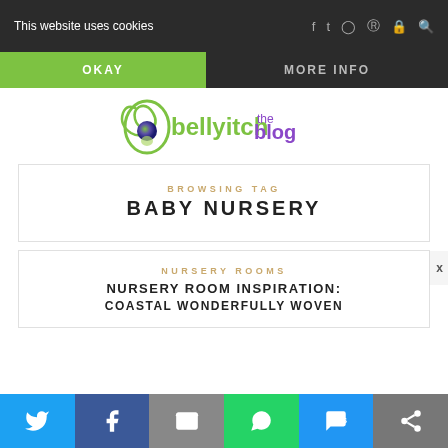This website uses cookies
OKAY
MORE INFO
[Figure (logo): Bellyitch the blog logo with green swirl and purple/blue text]
BROWSING TAG
BABY NURSERY
NURSERY ROOMS
NURSERY ROOM INSPIRATION: